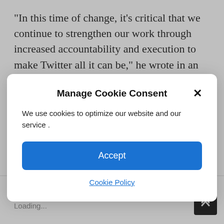“In this time of change, it’s critical that we continue to strengthen our work through increased accountability and execution to make Twitter all it can be,” he wrote in an email to Twitter employees, which was seen by The Times. “Our purpose is
[Figure (screenshot): Cookie consent modal dialog with title 'Manage Cookie Consent', close button (X), body text 'We use cookies to optimize our website and our service .', an 'Accept' button in blue, and a 'Cookie Policy' link.]
LIKE THIS:
Loading...